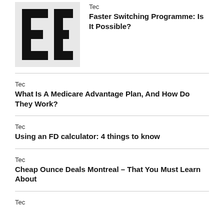[Figure (logo): Block letter logo resembling 'EE' or double-E in black on grey background]
Tec
Faster Switching Programme: Is It Possible?
Tec
What Is A Medicare Advantage Plan, And How Do They Work?
Tec
Using an FD calculator: 4 things to know
Tec
Cheap Ounce Deals Montreal – That You Must Learn About
Tec